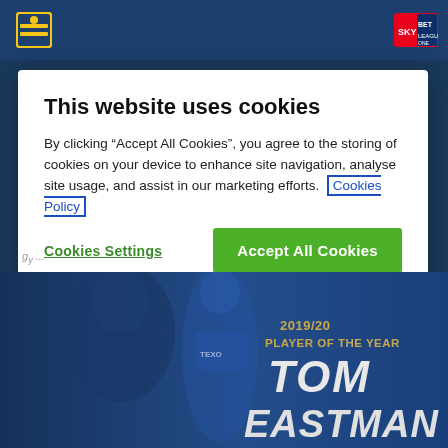[Figure (screenshot): Dark blue website header bar with Colchester United club crest logo on left and Sky Bet League One logo on right]
This website uses cookies
By clicking “Accept All Cookies”, you agree to the storing of cookies on your device to enhance site navigation, analyse site usage, and assist in our marketing efforts. Cookies Policy
Cookies Settings
Accept All Cookies
[Figure (photo): 2019/20 Player of the Year banner showing Tom Eastman in Colchester United blue kit with gold text overlay]
2019/20 PLAYER OF THE YEAR TOM EASTMAN